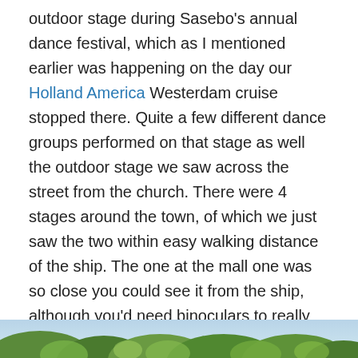outdoor stage during Sasebo's annual dance festival, which as I mentioned earlier was happening on the day our Holland America Westerdam cruise stopped there. Quite a few different dance groups performed on that stage as well the outdoor stage we saw across the street from the church. There were 4 stages around the town, of which we just saw the two within easy walking distance of the ship. The one at the mall one was so close you could see it from the ship, although you'd need binoculars to really watch the performance. Between the ship and the nearest stage various groups practiced their routines so walking along the wharf meant seeing several performances at once. Free shuttles from the port brought people into the downtown area where they could find more festival performances on the other stages.
[Figure (photo): Bottom strip of a photograph showing outdoor foliage or trees, partially visible at the bottom of the page.]